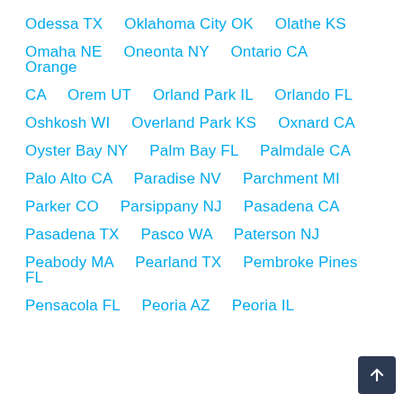Odessa TX
Oklahoma City OK
Olathe KS
Omaha NE
Oneonta NY
Ontario CA
Orange CA
Orem UT
Orland Park IL
Orlando FL
Oshkosh WI
Overland Park KS
Oxnard CA
Oyster Bay NY
Palm Bay FL
Palmdale CA
Palo Alto CA
Paradise NV
Parchment MI
Parker CO
Parsippany NJ
Pasadena CA
Pasadena TX
Pasco WA
Paterson NJ
Peabody MA
Pearland TX
Pembroke Pines FL
Pensacola FL
Peoria AZ
Peoria IL